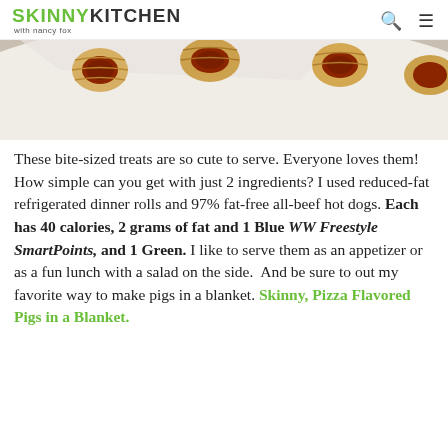SKINNY KITCHEN with nancy fox
[Figure (photo): Close-up photo of pigs in a blanket — small hot dog pieces wrapped in golden crescent roll dough on a white plate]
These bite-sized treats are so cute to serve. Everyone loves them! How simple can you get with just 2 ingredients? I used reduced-fat refrigerated dinner rolls and 97% fat-free all-beef hot dogs. Each has 40 calories, 2 grams of fat and 1 Blue WW Freestyle SmartPoints, and 1 Green. I like to serve them as an appetizer or as a fun lunch with a salad on the side.  And be sure to out my favorite way to make pigs in a blanket. Skinny, Pizza Flavored Pigs in a Blanket.